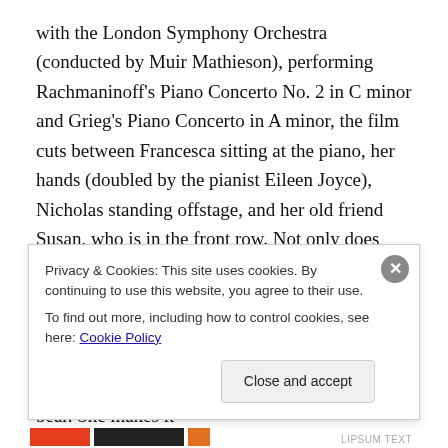with the London Symphony Orchestra (conducted by Muir Mathieson), performing Rachmaninoff's Piano Concerto No. 2 in C minor and Grieg's Piano Concerto in A minor, the film cuts between Francesca sitting at the piano, her hands (doubled by the pianist Eileen Joyce), Nicholas standing offstage, and her old friend Susan, who is in the front row. Not only does Susan, now a wealthy socialite, enter late and talk during the performance, but her mere presence reminds Francesca so strongly of the brutal whipping her hands received as a girl that the act of playing becomes almost too much to bear. She makes it
Privacy & Cookies: This site uses cookies. By continuing to use this website, you agree to their use.
To find out more, including how to control cookies, see here: Cookie Policy
Close and accept